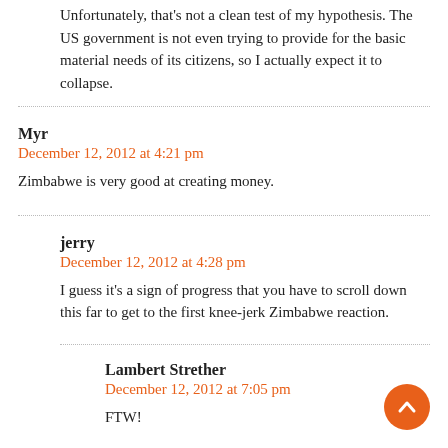Unfortunately, that's not a clean test of my hypothesis. The US government is not even trying to provide for the basic material needs of its citizens, so I actually expect it to collapse.
Myr
December 12, 2012 at 4:21 pm
Zimbabwe is very good at creating money.
jerry
December 12, 2012 at 4:28 pm
I guess it's a sign of progress that you have to scroll down this far to get to the first knee-jerk Zimbabwe reaction.
Lambert Strether
December 12, 2012 at 7:05 pm
FTW!